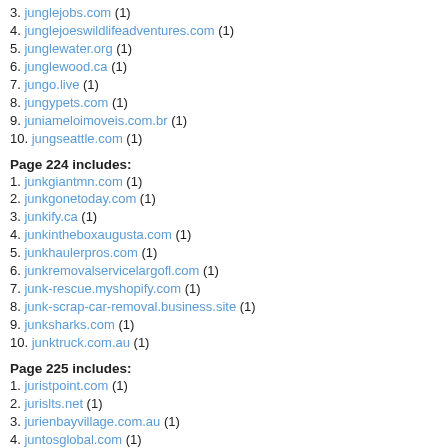3. junglejobs.com (1)
4. junglejoeswildlifeadventures.com (1)
5. junglewater.org (1)
6. junglewood.ca (1)
7. jungo.live (1)
8. jungypets.com (1)
9. juniameloimoveis.com.br (1)
10. jungseattle.com (1)
Page 224 includes:
1. junkgiantmn.com (1)
2. junkgonetoday.com (1)
3. junkify.ca (1)
4. junkintheboxaugusta.com (1)
5. junkhaulerpros.com (1)
6. junkremovalservicelargofl.com (1)
7. junk-rescue.myshopify.com (1)
8. junk-scrap-car-removal.business.site (1)
9. junksharks.com (1)
10. junktruck.com.au (1)
Page 225 includes:
1. juristpoint.com (1)
2. jurislts.net (1)
3. jurienbayvillage.com.au (1)
4. juntosglobal.com (1)
5. jupiter.jetride-deals.com (1)
6. jupiteracservice.com (1)
7. junrongchina.com (1)
8. junyaotechnology.com (1)
9. junzheng.manufacturer.globalsources.com (1)
10. junmoroco.com (1)
Page 226 includes:
1. juryinnbrighton.reservations.com (1)